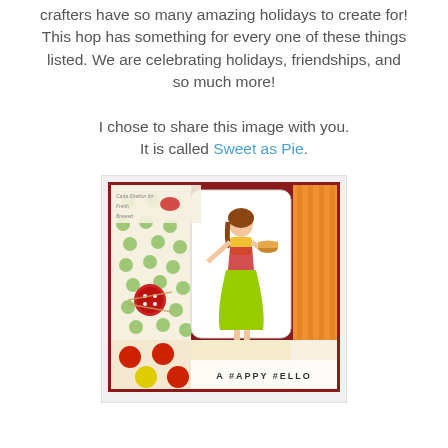crafters have so many amazing holidays to create for! This hop has something for every one of these things listed. We are celebrating holidays, friendships, and so much more!
I chose to share this image with you. It is called Sweet as Pie.
[Figure (photo): A handmade greeting card featuring a woman in a yellow-topped red apron and bright green dress holding a pie. The card background has apple-patterned scrapbook paper in green and red/orange stripes. A red button embellishment is on the left side. Text at the bottom reads 'A HAPPY HELLO'.]